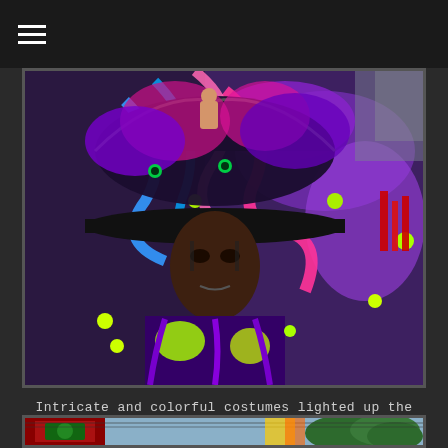[Figure (photo): Close-up photo of a festival performer in Kalibo wearing an intricate, colorful costume with vivid purple, pink, neon green, and blue swirling decorations. The performer's face is painted dark and they wear a large ornate headdress. Background shows more colorful festive costumes and decorations.]
Intricate and colorful costumes lighted up the rain-soaked streets of Kalibo.
[Figure (photo): Partial view of another festival scene in Kalibo, showing colorful costumes and decorations against a background of trees and sky.]